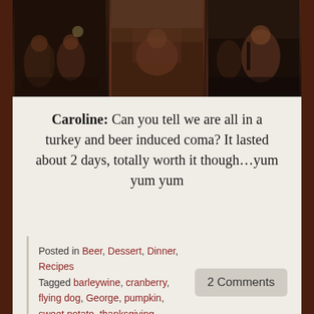[Figure (photo): Three side-by-side photos of people at a dinner table with food and drinks, dark restaurant/home setting]
Caroline: Can you tell we are all in a turkey and beer induced coma? It lasted about 2 days, totally worth it though…yum yum yum
Posted in Beer, Dessert, Dinner, Recipes
Tagged barleywine, cranberry, flying dog, George, pumpkin, sweet potato, thanksgiving
2 Comments